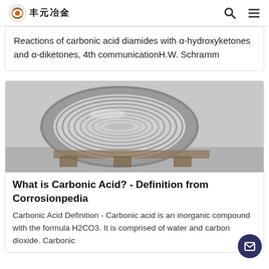丰元冶金
Reactions of carbonic acid diamides with α-hydroxyketones and α-diketones, 4th communicationH.W. Schramm
[Figure (photo): A roll of metallic wire or tubing coiled in a large cylindrical spool, silver/grey in color, placed on a surface.]
What is Carbonic Acid? - Definition from Corrosionpedia
Carbonic Acid Definition - Carbonic acid is an inorganic compound with the formula H2CO3. It is comprised of water and carbon dioxide. Carbonic